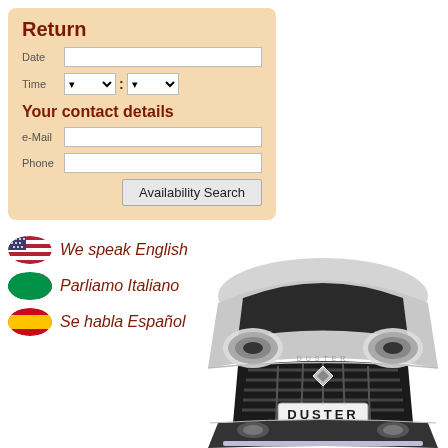Return
Date
Time
Your contact details
e-Mail
Phone
Availability Search
We speak English
Parliamo Italiano
Se habla Español
[Figure (photo): Front view of a Renault Duster SUV in silver/grey color]